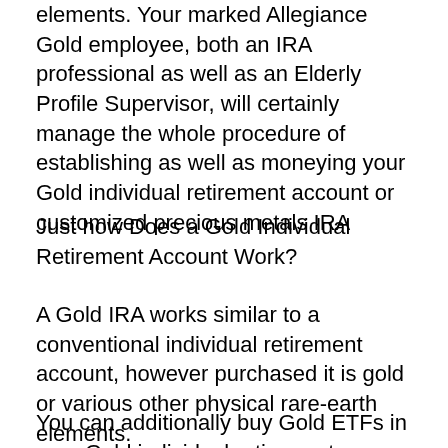elements. Your marked Allegiance Gold employee, both an IRA professional as well as an Elderly Profile Supervisor, will certainly manage the whole procedure of establishing as well as moneying your Gold individual retirement account or customized precious metals IRA
Just how Does a Gold Individual Retirement Account Work?
A Gold IRA works similar to a conventional individual retirement account, however purchased it is gold or various other physical rare-earth elements.
You can additionally buy Gold ETFs in your Gold individual retirement account.